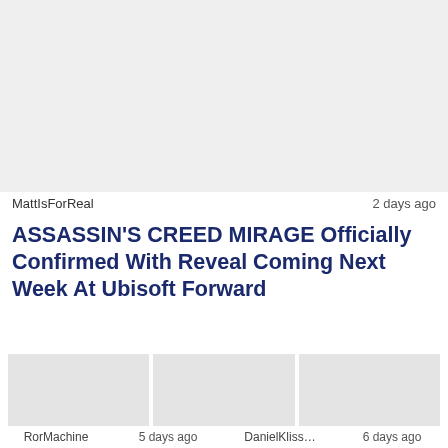[Figure (photo): Large image placeholder at top of page, light gray]
MattIsForReal    2 days ago
ASSASSIN'S CREED MIRAGE Officially Confirmed With Reveal Coming Next Week At Ubisoft Forward
[Figure (photo): Bottom row of smaller thumbnail images]
RorMachine   5 days ago   DanielKliss…   6 days ago